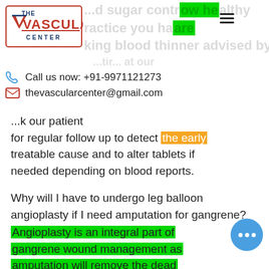[Figure (logo): The Vascular Center logo with red checkmark and text]
Call us now: +91-9971121273
thevascularcenter@gmail.com
for regular follow up to detect the early treatable cause and to alter tablets if needed depending on blood reports.
Why will I have to undergo leg balloon angioplasty if I need amputation for gangrene?
Angioplasty is an integral part of gangrene wound management as amputation will remove the dead gangrenous part, but if closed - blocked vessel –artery is not opened with angioplasty or stenting,